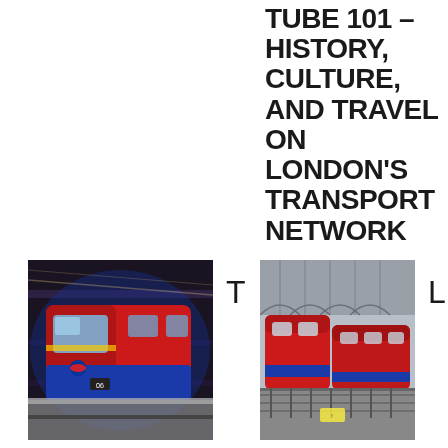TUBE 101 – HISTORY, CULTURE, AND TRAVEL ON LONDON'S TRANSPORT NETWORK
[Figure (photo): Red and blue London Underground / DLR train at a platform station, motion blur in background, night/low-light scene]
T
[Figure (photo): Vintage red London Underground tube train carriages lined up in a depot or yard, viewed from outside through a fence, daytime]
L